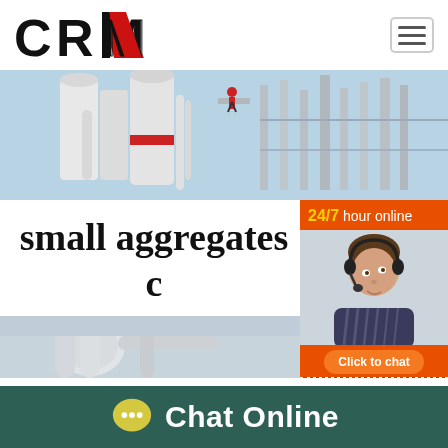[Figure (logo): CRM company logo with red angular graphic element and black bold text]
[Figure (photo): Industrial machinery — white silos, pipes, and industrial structures with a worker visible on a platform against a blue sky]
small aggregates crushing machine
[Figure (photo): 24/7 hour online chat widget showing a female customer service agent wearing a headset, with orange background header and Click to chat button]
[Figure (photo): Industrial machinery close-up showing white pipes and silos]
[Figure (infographic): Chat Online footer bar with yellow speech bubble icon and white text on dark teal background]